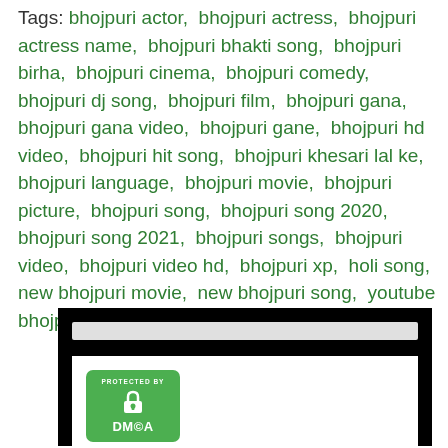Tags: bhojpuri actor,  bhojpuri actress,  bhojpuri actress name,  bhojpuri bhakti song,  bhojpuri birha,  bhojpuri cinema,  bhojpuri comedy,  bhojpuri dj song,  bhojpuri film,  bhojpuri gana,  bhojpuri gana video,  bhojpuri gane,  bhojpuri hd video,  bhojpuri hit song,  bhojpuri khesari lal ke,  bhojpuri language,  bhojpuri movie,  bhojpuri picture,  bhojpuri song,  bhojpuri song 2020,  bhojpuri song 2021,  bhojpuri songs,  bhojpuri video,  bhojpuri video hd,  bhojpuri xp,  holi song,  new bhojpuri movie,  new bhojpuri song,  youtube bhojpuri video
[Figure (screenshot): DMCA protected badge on black background with white top bar]